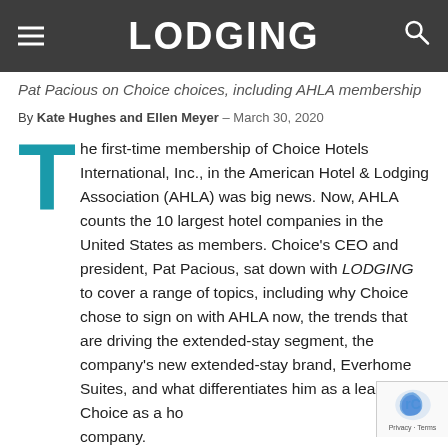LODGING
Pat Pacious on Choice choices, including AHLA membership
By Kate Hughes and Ellen Meyer – March 30, 2020
The first-time membership of Choice Hotels International, Inc., in the American Hotel & Lodging Association (AHLA) was big news. Now, AHLA counts the 10 largest hotel companies in the United States as members. Choice's CEO and president, Pat Pacious, sat down with LODGING to cover a range of topics, including why Choice chose to sign on with AHLA now, the trends that are driving the extended-stay segment, the company's new extended-stay brand, Everhome Suites, and what differentiates him as a leader and Choice as a hotel company.